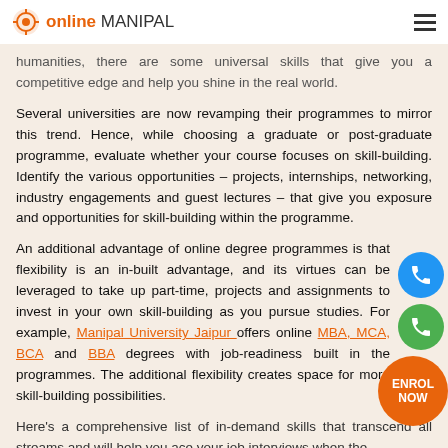online MANIPAL
humanities, there are some universal skills that give you a competitive edge and help you shine in the real world.
Several universities are now revamping their programmes to mirror this trend. Hence, while choosing a graduate or post-graduate programme, evaluate whether your course focuses on skill-building. Identify the various opportunities – projects, internships, networking, industry engagements and guest lectures – that give you exposure and opportunities for skill-building within the programme.
An additional advantage of online degree programmes is that flexibility is an in-built advantage, and its virtues can be leveraged to take up part-time, projects and assignments to invest in your own skill-building as you pursue studies. For example, Manipal University Jaipur offers online MBA, MCA, BCA and BBA degrees with job-readiness built in the programmes. The additional flexibility creates space for more skill-building possibilities.
Here's a comprehensive list of in-demand skills that transcend all streams and will help you ace your job interviews when the